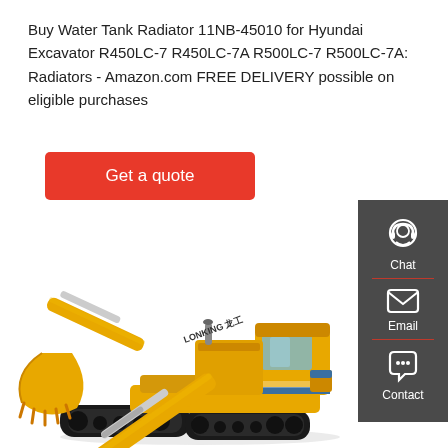Buy Water Tank Radiator 11NB-45010 for Hyundai Excavator R450LC-7 R450LC-7A R500LC-7 R500LC-7A: Radiators - Amazon.com FREE DELIVERY possible on eligible purchases
[Figure (other): Red 'Get a quote' button]
[Figure (photo): Yellow Lonking excavator on white background, shown in side profile with arm extended and bucket lowered]
[Figure (infographic): Dark grey sidebar with Chat (headset icon), Email (envelope icon), and Contact (speech bubble icon) options separated by red dividers]